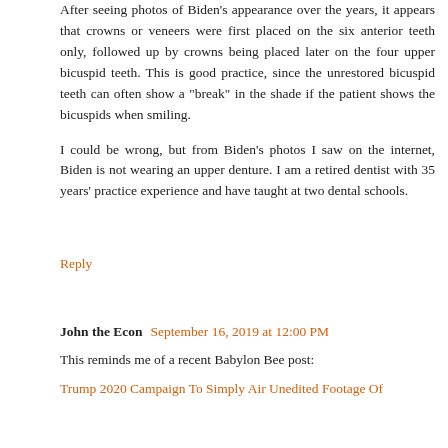After seeing photos of Biden's appearance over the years, it appears that crowns or veneers were first placed on the six anterior teeth only, followed up by crowns being placed later on the four upper bicuspid teeth. This is good practice, since the unrestored bicuspid teeth can often show a "break" in the shade if the patient shows the bicuspids when smiling.
I could be wrong, but from Biden's photos I saw on the internet, Biden is not wearing an upper denture. I am a retired dentist with 35 years' practice experience and have taught at two dental schools.
Reply
John the Econ  September 16, 2019 at 12:00 PM
This reminds me of a recent Babylon Bee post:
Trump 2020 Campaign To Simply Air Unedited Footage Of